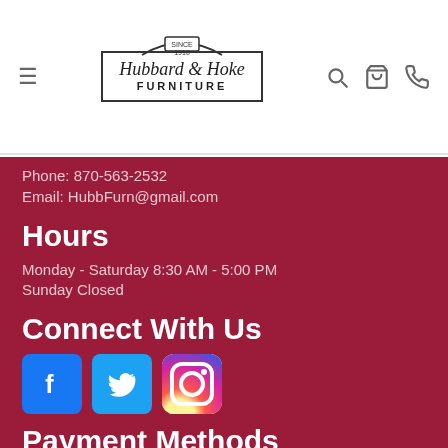Hubbard & Hoke Furniture (navigation header with logo, hamburger menu, search, cart, phone icons)
Phone: 870-563-2532
Email: HubbFurn@gmail.com
Hours
Monday - Saturday 8:30 AM - 5:00 PM
Sunday Closed
Connect With Us
[Figure (logo): Facebook, Twitter, and Instagram social media icons]
Payment Methods